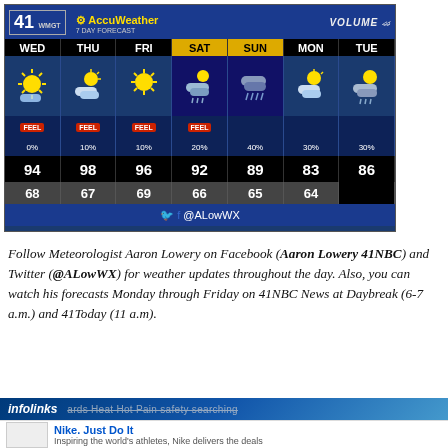[Figure (screenshot): AccuWeather 7-day forecast graphic from WMGT 41NBC showing weather for WED through TUE. High temps: 94, 98, 96, 92, 89, 83, 86. Low temps: 68, 67, 69, 66, 65, 64. Precipitation chances: 0%, 10%, 10%, 20%, 40%, 30%, 30%. SAT and SUN are highlighted in yellow.]
Follow Meteorologist Aaron Lowery on Facebook (Aaron Lowery 41NBC) and Twitter (@ALowWX) for weather updates throughout the day. Also, you can watch his forecasts Monday through Friday on 41NBC News at Daybreak (6-7 a.m.) and 41Today (11 a.m).
[Figure (screenshot): infolinks ad bar partially visible at bottom, with a Nike advertisement below it.]